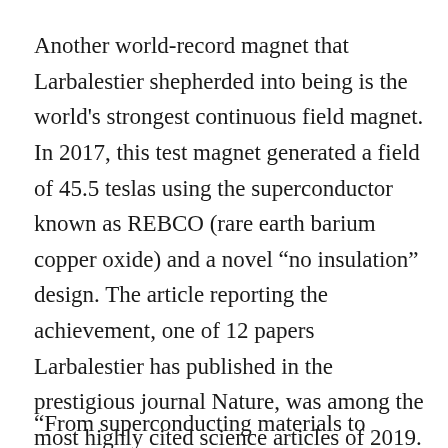Another world-record magnet that Larbalestier shepherded into being is the world's strongest continuous field magnet. In 2017, this test magnet generated a field of 45.5 teslas using the superconductor known as REBCO (rare earth barium copper oxide) and a novel “no insulation” design. The article reporting the achievement, one of 12 papers Larbalestier has published in the prestigious journal Nature, was among the most highly cited science articles of 2019. In all, Larbalestier's 490 publications have received more than 17,000 citations.
“From superconducting materials to magnet